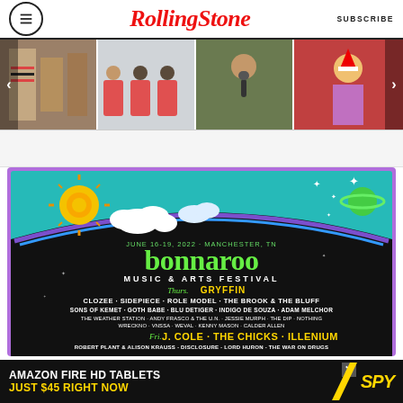RollingStone | SUBSCRIBE
[Figure (photo): Carousel of four images: people in wardrobe, panel discussion with three people, girl singing into microphone, performer on stage]
[Figure (infographic): Bonnaroo Music & Arts Festival 2022 lineup poster. June 16-19, 2022 - Manchester, TN. Features: Thurs. GRYFFIN, CLOZEE, SIDEPIECE, ROLE MODEL, THE BROOK & THE BLUFF, SONS OF KEMET, GOTH BABE, BLU DETIGER, INDIGO DE SOUZA, ADAM MELCHOR, THE WEATHER STATION, ANDY FRASCO & THE U.N., JESSIE MURPH, THE DIP, NOTHING, WRECKNO, VNSSA, WEVAL, KENNY MASON, CALDER ALLEN. Fri. J. COLE, THE CHICKS, ILLENIUM. ROBERT PLANT & ALISON KRAUSS, DISCLOSURE, LORD HURON, THE WAR ON DRUGS.]
[Figure (infographic): Bottom advertisement banner: AMAZON FIRE HD TABLETS JUST $45 RIGHT NOW / SPY logo]